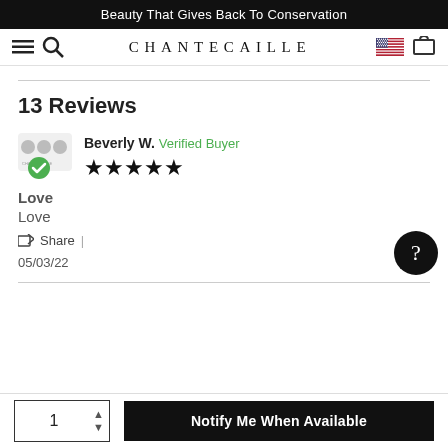Beauty That Gives Back To Conservation
CHANTECAILLE
13 Reviews
Beverly W. Verified Buyer — 5 stars — Love — Love — Share | — 05/03/22 — 0
1  Notify Me When Available